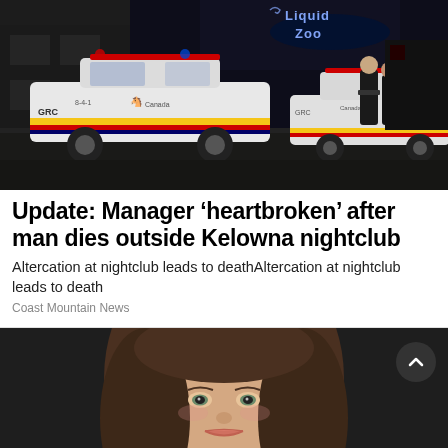[Figure (photo): Night scene showing RCMP police vehicles parked outside Liquid Zoo nightclub with officers standing nearby]
Update: Manager ‘heartbroken’ after man dies outside Kelowna nightclub
Altercation at nightclub leads to deathAltercation at nightclub leads to death
Coast Mountain News
[Figure (photo): Portrait photo of a young woman with long brown hair against a dark background]